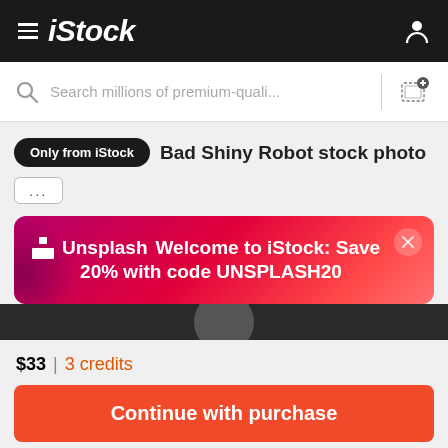iStock
Search millions of premium-quali...
Only from iStock   Bad Shiny Robot stock photo
...
[Figure (screenshot): Unsplash promotional banner on iStock: 'Welcome to iStock: Save 20% with code UNSPLASH20']
[Figure (photo): Partial view of a robot image strip]
$33 | 3 credits
Continue with purchase